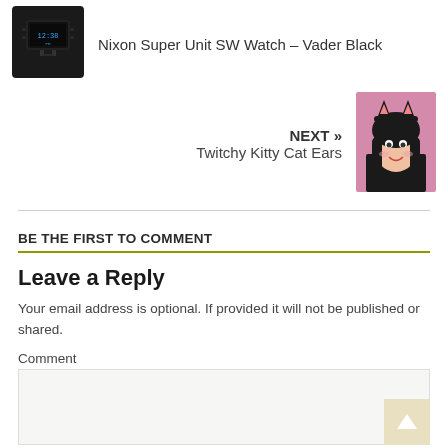[Figure (photo): Black Nixon Super Unit SW Watch product photo]
Nixon Super Unit SW Watch – Vader Black
NEXT » Twitchy Kitty Cat Ears
[Figure (photo): Young woman wearing cat ears headband, smiling, pink background]
BE THE FIRST TO COMMENT
Leave a Reply
Your email address is optional. If provided it will not be published or shared.
Comment